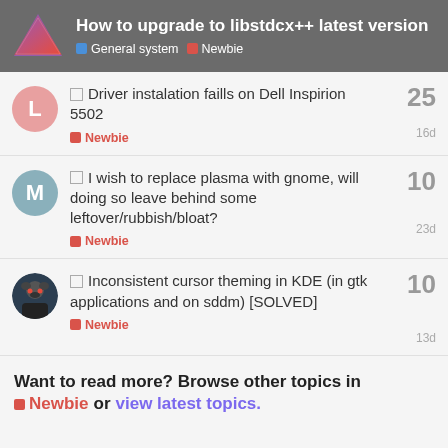How to upgrade to libstdcx++ latest version — General system | Newbie
Driver instalation faills on Dell Inspirion 5502 — Newbie — 25 replies — 16d
I wish to replace plasma with gnome, will doing so leave behind some leftover/rubbish/bloat? — Newbie — 10 replies — 23d
Inconsistent cursor theming in KDE (in gtk applications and on sddm) [SOLVED] — Newbie — 10 replies — 13d
Want to read more? Browse other topics in Newbie or view latest topics.